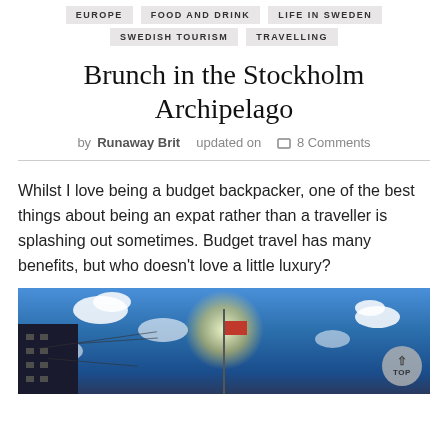EUROPE  FOOD AND DRINK  LIFE IN SWEDEN
SWEDISH TOURISM  TRAVELLING
Brunch in the Stockholm Archipelago
by Runaway Brit   updated on   8 Comments
Whilst I love being a budget backpacker, one of the best things about being an expat rather than a traveller is splashing out sometimes. Budget travel has many benefits, but who doesn't love a little luxury?
[Figure (photo): Outdoor photo looking up at a bright blue sky with white clouds, a flagpole with a flag, building silhouettes at left, and strong sunlight. A 'TOP' scroll button appears in the lower right corner.]